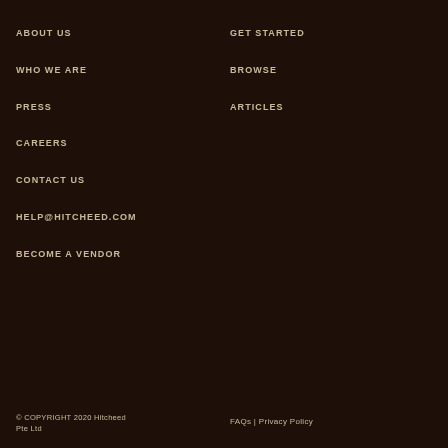ABOUT US
GET STARTED
WHO WE ARE
BROWSE
PRESS
ARTICLES
CAREERS
CONTACT US
HELP@HITCHEED.COM
BECOME A VENDOR
© COPYRIGHT 2020 Hitcheed Pte Ltd
FAQs | Privacy Policy